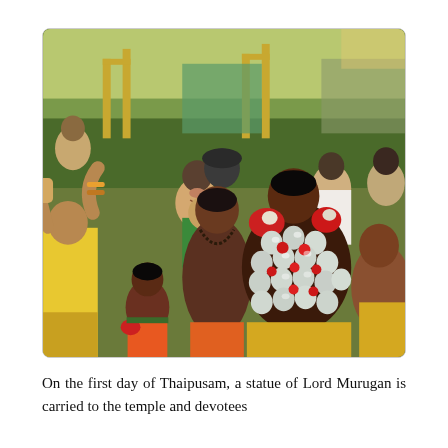[Figure (photo): A photograph showing devotees participating in Thaipusam festival. Men wearing orange/red garments with silver bells and red decorations attached to their bodies are visible in a crowd. A devotee in the center has many silver metal bells (kavadi) attached to his torso with red flowers. Other spectators and participants in yellow and orange clothing are visible in the background.]
On the first day of Thaipusam, a statue of Lord Murugan is carried to the temple and devotees